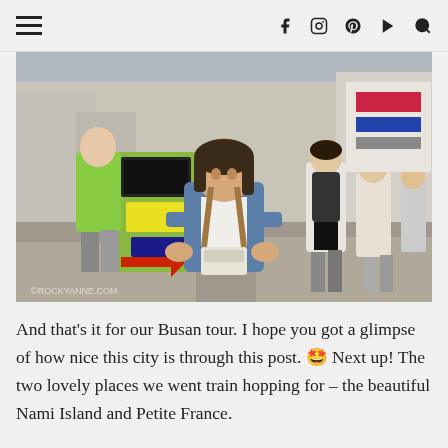≡   f  𝕚  𝕡  ▶  🔍
[Figure (photo): A young woman standing on a busy Korean street (Nampodong area, Busan), wearing a denim jacket, holding a food container. A green-shirted man is visible to the left, along with a Korean signage board. People walking away in the background.]
And that's it for our Busan tour. I hope you got a glimpse of how nice this city is through this post. 🤭 Next up! The two lovely places we went train hopping for – the beautiful Nami Island and Petite France.